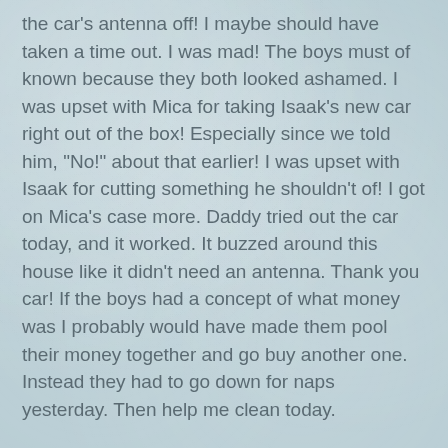the car's antenna off! I maybe should have taken a time out. I was mad! The boys must of known because they both looked ashamed. I was upset with Mica for taking Isaak's new car right out of the box! Especially since we told him, "No!" about that earlier! I was upset with Isaak for cutting something he shouldn't of! I got on Mica's case more. Daddy tried out the car today, and it worked. It buzzed around this house like it didn't need an antenna. Thank you car! If the boys had a concept of what money was I probably would have made them pool their money together and go buy another one. Instead they had to go down for naps yesterday. Then help me clean today.
I have to say that after a nap Mica was nice! He frosted Isaak's cake and added sprinkles on it. Then he helped me with dinner. We played Isaak's new puppy game as a family. Things did get better.
We had cake and Isaak got to unwrap his last present from us. It was a Melissa and Doug Mosaic Tile Set. Then we watched a movie - Isaak's choice.